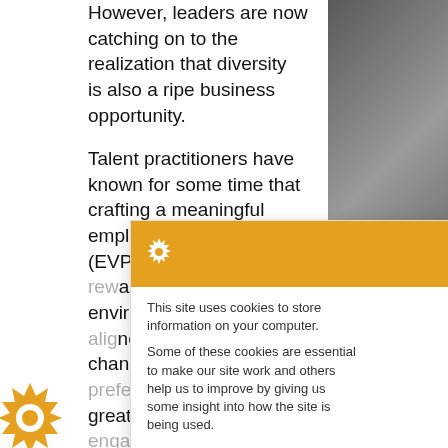However, leaders are now catching on to the realization that diversity is also a ripe business opportunity.
Talent practitioners have known for some time that crafting a meaningful employee value proposition (EVP) — a set of rewards and work environments aligned with employees' changing needs and preferences — leads to greater employee engagement and the start of a virtuous business cycle yielding greater organizational performance.
If diversity is a feature of the new work world, the EVP will need to evolve accordingly.
[Figure (screenshot): Cookie consent popup overlay with orange header containing gear icon and X close button, body text about cookies, and a green 'I'm fine with this' button]